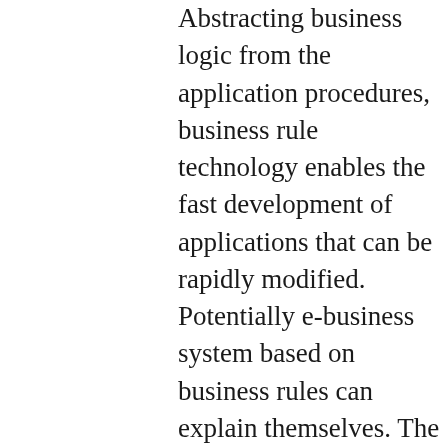Abstracting business logic from the application procedures, business rule technology enables the fast development of applications that can be rapidly modified. Potentially e-business system based on business rules can explain themselves. The business rule explanation system of this thesis is a prototype system that provides a user with the justifications of the conclusions derived by a business rule system. The